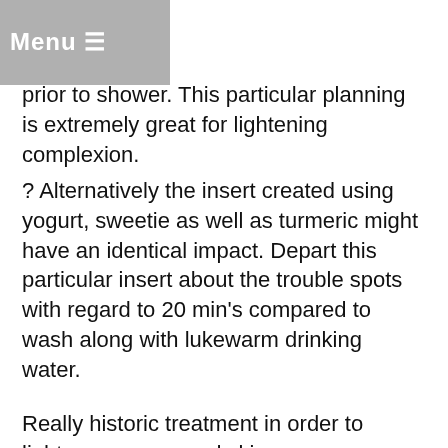Menu
prior to shower. This particular planning is extremely great for lightening complexion.
? Alternatively the insert created using yogurt, sweetie as well as turmeric might have an identical impact. Depart this particular insert about the trouble spots with regard to 20 min's compared to wash along with lukewarm drinking water.
Really historic treatment in order to lighten up pores and skin
? Mix sesame seedling essential oil, essential olive oil as well as almond essential oil within the percentage four: 1: 1 as well as put it on in your pores and skin. Depart this with regard to 20 min's as well as clean this away along with tepid to warm water utilizing gram